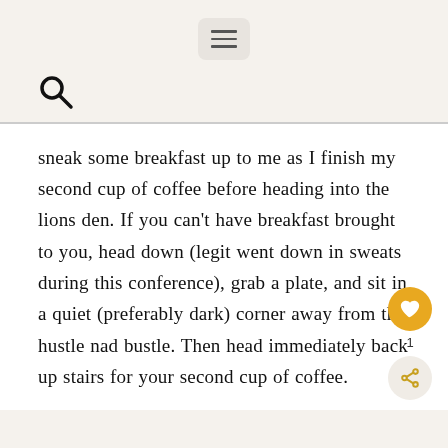[hamburger menu icon]
[Figure (other): Search icon (magnifying glass)]
sneak some breakfast up to me as I finish my second cup of coffee before heading into the lions den. If you can't have breakfast brought to you, head down (legit went down in sweats during this conference), grab a plate, and sit in a quiet (preferably dark) corner away from the hustle nad bustle. Then head immediately back up stairs for your second cup of coffee.